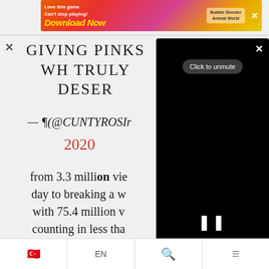[Figure (screenshot): Advertisement banner for a game app with 'Love this game Can't stop playing! Download Now' text, bubble shooter animal world, with X close button.]
GIVING PINKS WH TRULY DESER
— ¶(@CUNTYROSIr
2020
from 3.3 million vie day to breaking a w with 75.4 million v counting in less tha BLACKPINK IS
[Figure (screenshot): Black video player overlay with X close button, Click to unmute button, and pause (II) control.]
🇹🇷   EN   🔍   ≡